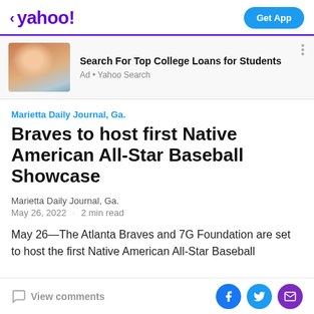< yahoo! | Get App
[Figure (other): Advertisement banner: photo of a woman studying at laptop, ad for Search For Top College Loans for Students, Ad • Yahoo Search]
Search For Top College Loans for Students
Ad • Yahoo Search
Marietta Daily Journal, Ga.
Braves to host first Native American All-Star Baseball Showcase
Marietta Daily Journal, Ga.
May 26, 2022 · 2 min read
May 26—The Atlanta Braves and 7G Foundation are set to host the first Native American All-Star Baseball
View comments | Facebook | Twitter | Email